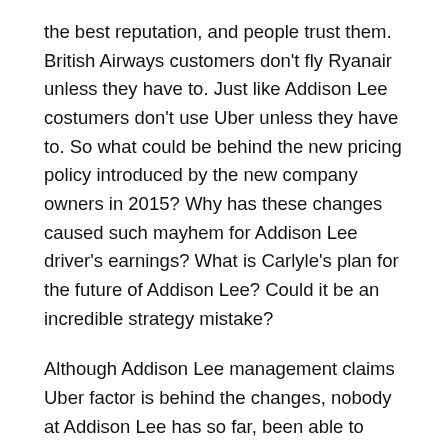the best reputation, and people trust them. British Airways customers don't fly Ryanair unless they have to. Just like Addison Lee costumers don't use Uber unless they have to. So what could be behind the new pricing policy introduced by the new company owners in 2015? Why has these changes caused such mayhem for Addison Lee driver's earnings? What is Carlyle's plan for the future of Addison Lee? Could it be an incredible strategy mistake?
Although Addison Lee management claims Uber factor is behind the changes, nobody at Addison Lee has so far, been able to explain why the changes was only introduced in May 2015, three years after Uber started operations in the UK. But coincidently, the changes have been introduced just after the former owners of Addison Lee left the company and management in the hands of the new owners, the Carlyle Group, an